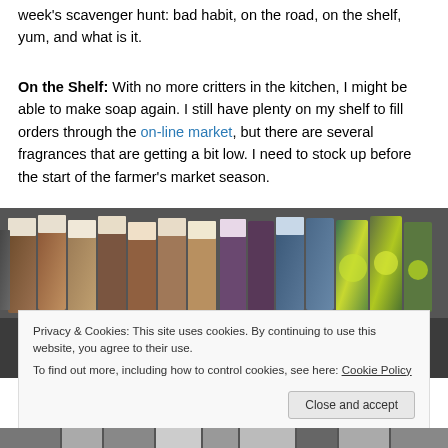week's scavenger hunt:  bad habit, on the road, on the shelf, yum, and what is it.
On the Shelf:  With no more critters in the kitchen, I might be able to make soap again.  I still have plenty on my shelf to fill orders through the on-line market, but there are several fragrances that are getting a bit low.  I need to stock up before the start of the farmer's market season.
[Figure (photo): Photo of colorful handmade soap bars arranged in rows, showing various colors including earth tones, blues, greens, and bright yellow-green swirls]
Privacy & Cookies: This site uses cookies. By continuing to use this website, you agree to their use.
To find out more, including how to control cookies, see here: Cookie Policy
Close and accept